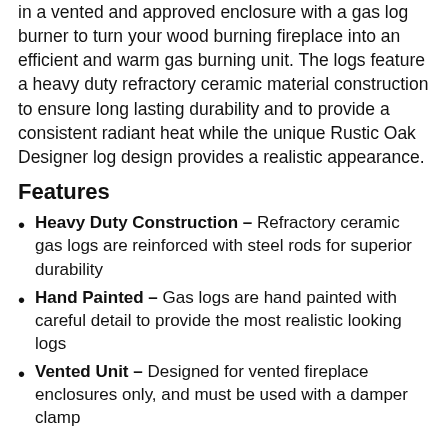in a vented and approved enclosure with a gas log burner to turn your wood burning fireplace into an efficient and warm gas burning unit. The logs feature a heavy duty refractory ceramic material construction to ensure long lasting durability and to provide a consistent radiant heat while the unique Rustic Oak Designer log design provides a realistic appearance.
Features
Heavy Duty Construction – Refractory ceramic gas logs are reinforced with steel rods for superior durability
Hand Painted – Gas logs are hand painted with careful detail to provide the most realistic looking logs
Vented Unit – Designed for vented fireplace enclosures only, and must be used with a damper clamp